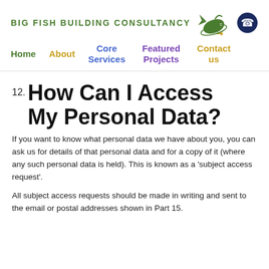BIG FISH BUILDING CONSULTANCY
Home   About   Core Services   Featured Projects   Contact us
12. How Can I Access My Personal Data?
If you want to know what personal data we have about you, you can ask us for details of that personal data and for a copy of it (where any such personal data is held). This is known as a 'subject access request'.
All subject access requests should be made in writing and sent to the email or postal addresses shown in Part 15.